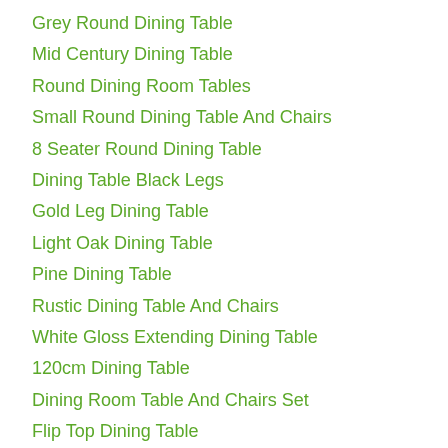Grey Round Dining Table
Mid Century Dining Table
Round Dining Room Tables
Small Round Dining Table And Chairs
8 Seater Round Dining Table
Dining Table Black Legs
Gold Leg Dining Table
Light Oak Dining Table
Pine Dining Table
Rustic Dining Table And Chairs
White Gloss Extending Dining Table
120cm Dining Table
Dining Room Table And Chairs Set
Flip Top Dining Table
Grey And White Dining Table